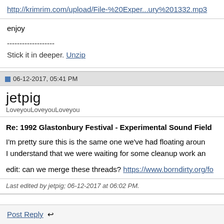http://krimrim.com/upload/File-%20Exper...ury%201332.mp3
enjoy
-------------------
Stick it in deeper. Unzip
06-12-2017, 05:41 PM
jetpig
LoveyouLoveyouLoveyou
Re: 1992 Glastonbury Festival - Experimental Sound Field
I'm pretty sure this is the same one we've had floating aroun I understand that we were waiting for some cleanup work an
edit: can we merge these threads? https://www.borndirty.org/fo
Last edited by jetpig; 06-12-2017 at 06:02 PM.
Post Reply